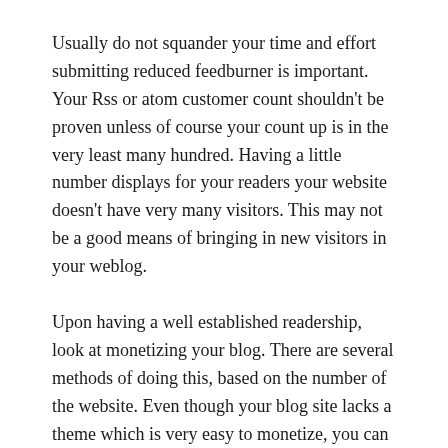Usually do not squander your time and effort submitting reduced feedburner is important. Your Rss or atom customer count shouldn't be proven unless of course your count up is in the very least many hundred. Having a little number displays for your readers your website doesn't have very many visitors. This may not be a good means of bringing in new visitors in your weblog.
Upon having a well established readership, look at monetizing your blog. There are several methods of doing this, based on the number of the website. Even though your blog site lacks a theme which is very easy to monetize, you can include a contribution button, allowing website visitors to give away to your site by way of a services like Paypal.
Try to keep your adverts to a minimum. You do not